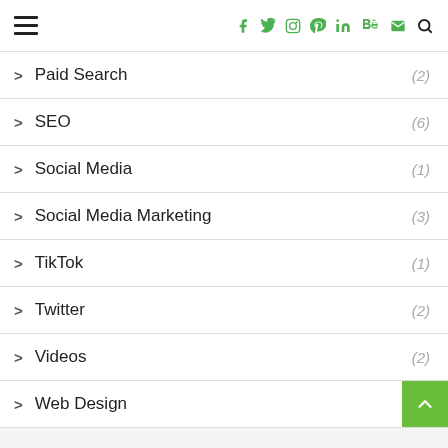Navigation header with hamburger menu and social icons: f, Twitter, Instagram, Pinterest, LinkedIn, Behance, email, search
Paid Search (2)
SEO (6)
Social Media (1)
Social Media Marketing (3)
TikTok (1)
Twitter (2)
Videos (2)
Web Design